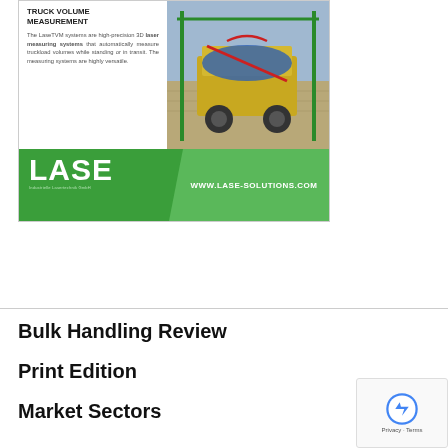[Figure (infographic): LASE advertisement for Truck Volume Measurement system. Shows text on left describing the LaseTVM system as high-precision 3D laser measuring systems. Photo on right shows aerial view of a large truck under green laser measuring frame. Bottom has green banner with LASE logo and website www.lase-solutions.com.]
Bulk Handling Review
Print Edition
Market Sectors